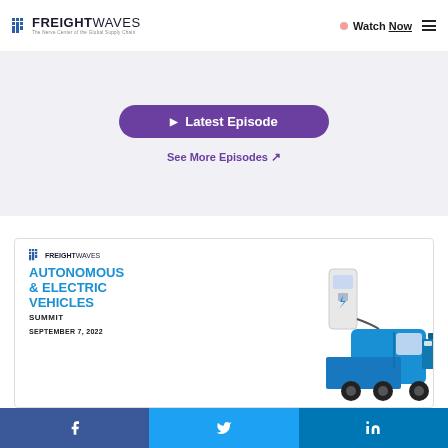FREIGHTWAVES — Watch Now
Latest Episode
See More Episodes ↗
[Figure (illustration): FreightWaves Autonomous & Electric Vehicles Summit promotional image with an electric semi-truck and charging station, September 7, 2022]
Facebook | Twitter | LinkedIn